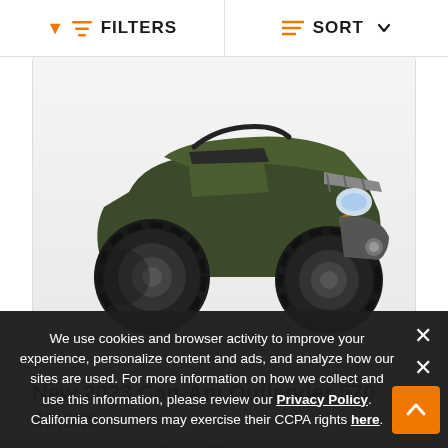FILTERS   SORT
[Figure (photo): Green 2023 Can-Am Outlander 570 ATV viewed from front-left angle, showing large knobby tires, green body panels, headlights, and front bumper/rack on white background]
New 2023 Can-Am Outlander 570
$9,349
Color    Boreal Green
We use cookies and browser activity to improve your experience, personalize content and ads, and analyze how our sites are used. For more information on how we collect and use this information, please review our Privacy Policy. California consumers may exercise their CCPA rights here.